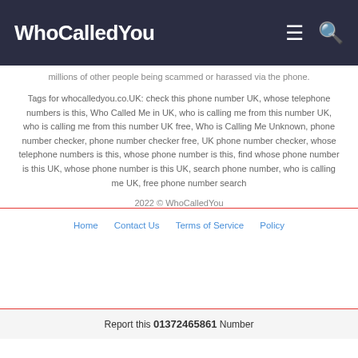WhoCalledYou
millions of other people being scammed or harassed via the phone.
Tags for whocalledyou.co.UK: check this phone number UK, whose telephone numbers is this, Who Called Me in UK, who is calling me from this number UK, who is calling me from this number UK free, Who is Calling Me Unknown, phone number checker, phone number checker free, UK phone number checker, whose telephone numbers is this, whose phone number is this, find whose phone number is this UK, whose phone number is this UK, search phone number, who is calling me UK, free phone number search
2022 © WhoCalledYou
Home   Contact Us   Terms of Service   Policy
Report this 01372465861 Number